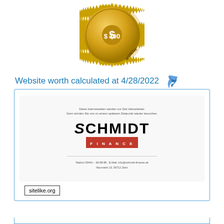[Figure (illustration): Gold medal/seal with 'WEBSITE WORTH' text around the edge and '$ 100' in the center]
Website worth calculated at 4/28/2022
[Figure (screenshot): Screenshot of schmidt-finance.de website showing maintenance message in German, Schmidt Finance logo (black text with red FINANCE bar), divider line, and contact info: Telefon 03441 - 66 88 88, E-Mail: info@schmidt-finance.de, Neumarkt 13, 06712 Zeitz]
sitelike.org